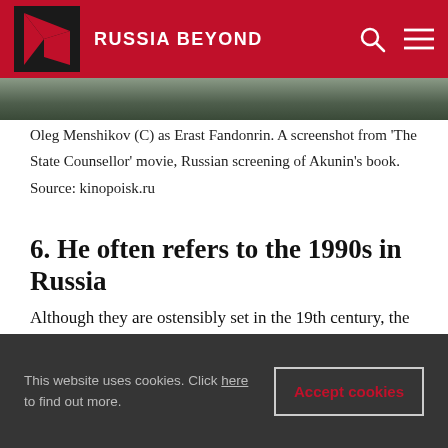RUSSIA BEYOND
[Figure (photo): A screenshot from 'The State Counsellor' movie showing actors — partial image strip visible at top]
Oleg Menshikov (C) as Erast Fandonrin. A screenshot from 'The State Counsellor' movie, Russian screening of Akunin's book. Source: kinopoisk.ru
6. He often refers to the 1990s in Russia
Although they are ostensibly set in the 19th century, the Fandorin novels obliquely reference Russia in the 1990s, when people suddenly became bank directors in their mid-to-late 20s. Indeed, this is something that the protagonist, Erast Fandorin, specifically mentions. He is also a
This website uses cookies. Click here to find out more.  Accept cookies